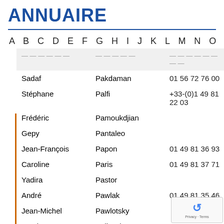ANNUAIRE
A B C D E F G H I J K L M N O P Q R S T U V
| Prénom | Nom | Téléphone |
| --- | --- | --- |
| Sadaf | Pakdaman | 01 56 72 76 00 |
| Stéphane | Palfi | +33-(0)1 49 81 22 03 |
| Frédéric | Pamoukdjian |  |
| Gepy | Pantaleo |  |
| Jean-François | Papon | 01 49 81 36 93 |
| Caroline | Paris | 01 49 81 37 71 |
| Yadira | Pastor |  |
| André | Pawlak | 01 49 81 35 46 |
| Jean-Michel | Pawlotsky |  |
| Antoine | Pelissolo | 01 49 81 30... |